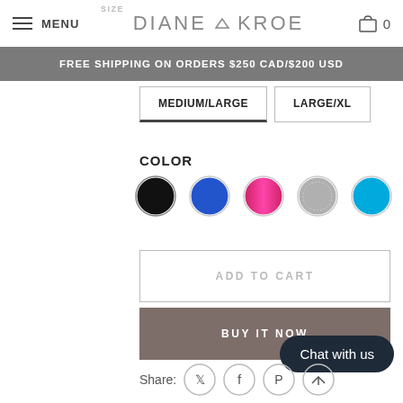MENU | DIANE KROE | 0
FREE SHIPPING ON ORDERS $250 CAD/$200 USD
SIZE
MEDIUM/LARGE
LARGE/XL
COLOR
[Figure (other): Five color swatches: black, blue, pink/magenta, gray, cyan/light blue]
ADD TO CART
BUY IT NOW
Chat with us
Share: